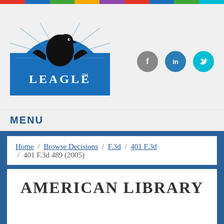[Figure (logo): Leagle.com logo with eagle silhouette on blue semicircle background]
[Figure (logo): Social media icons: Facebook (grey circle), LinkedIn (blue circle), Twitter (cyan circle)]
MENU
Home / Browse Decisions / F.3d / 401 F.3d / 401 F.3d 489 (2005)
AMERICAN LIBRARY